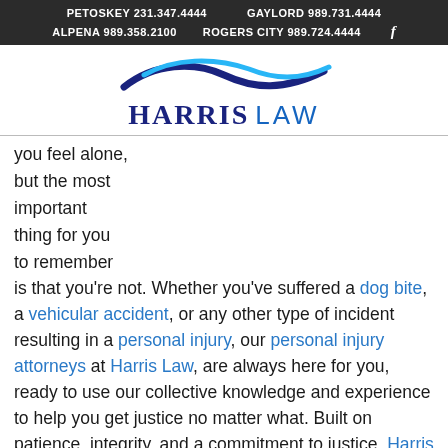PETOSKEY 231.347.4444   GAYLORD 989.731.4444   ALPENA 989.358.2100   ROGERS CITY 989.724.4444
[Figure (logo): Harris Law logo with blue wave graphic above text 'HARRIS LAW']
you feel alone, but the most important thing for you to remember is that you're not. Whether you've suffered a dog bite, a vehicular accident, or any other type of incident resulting in a personal injury, our personal injury attorneys at Harris Law, are always here for you, ready to use our collective knowledge and experience to help you get justice no matter what. Built on patience, integrity, and a commitment to justice, Harris Law offer personal injury attorneys perfectly qualified to